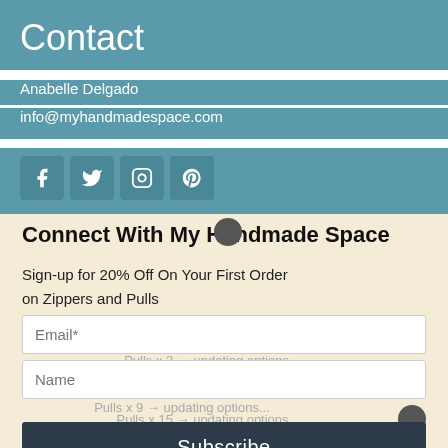Contact
Anabelle Delgado
info@myhandmadespace.com
[Figure (other): Social media icons: Facebook, Twitter, Instagram, Pinterest]
Connect With My Handmade Space
Sign-up for 20% Off On Your First Order
on Zippers and Pulls
Email*
Pulls x 3 → updating options...
Name
Pulls x 9 → updating options...
Pulls x 15 → updating options...
Subscribe